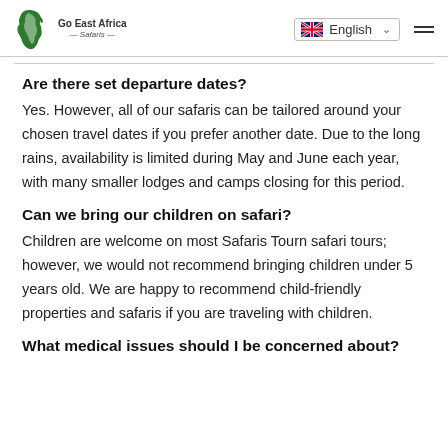Go East Africa Safaris — English language selector — menu
Are there set departure dates?
Yes. However, all of our safaris can be tailored around your chosen travel dates if you prefer another date. Due to the long rains, availability is limited during May and June each year, with many smaller lodges and camps closing for this period.
Can we bring our children on safari?
Children are welcome on most Safaris Tourn safari tours; however, we would not recommend bringing children under 5 years old. We are happy to recommend child-friendly properties and safaris if you are traveling with children.
What medical issues should I be concerned about?